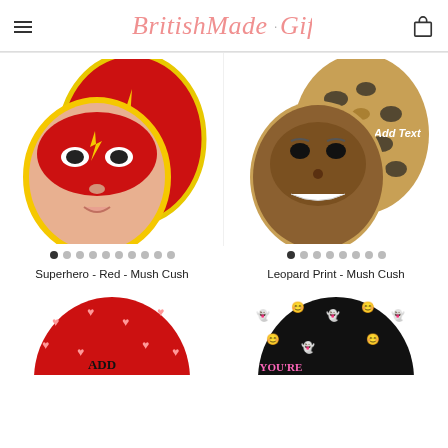BritishMade.Gifts
[Figure (photo): Superhero Red Mush Cush product photo - two oval cushions, one with a child's face in superhero mask, one red with lightning bolt and ADD TEXT text]
[Figure (photo): Leopard Print Mush Cush product photo - two oval cushions with leopard print pattern, one with a face, one with Add Text label]
Superhero - Red - Mush Cush
Leopard Print - Mush Cush
[Figure (photo): Red cushion with hearts and ADD TEXT text, partially visible at bottom]
[Figure (photo): Black cushion with YOU'RE MY text partially visible at bottom]